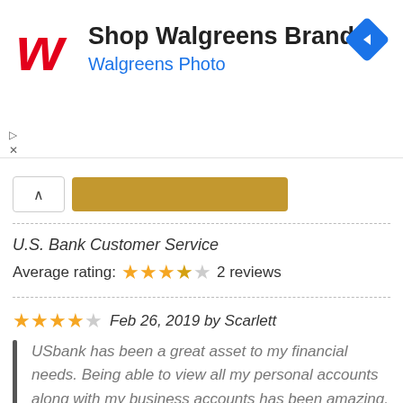[Figure (logo): Walgreens ad banner with logo, 'Shop Walgreens Brand' title, 'Walgreens Photo' subtitle, and navigation arrow icon]
U.S. Bank Customer Service
Average rating: ★★★☆☆ 2 reviews
★★★★☆ Feb 26, 2019 by Scarlett
USbank has been a great asset to my financial needs. Being able to view all my personal accounts along with my business accounts has been amazing. Great staff that gives the local feel with the leverage of a larger